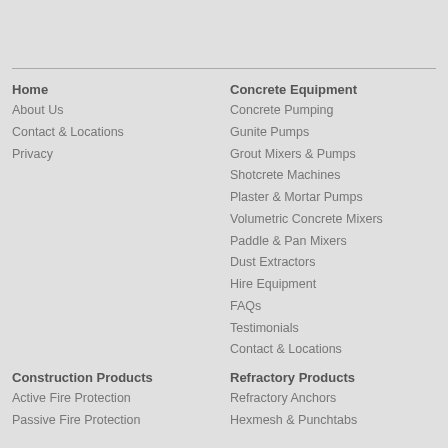Home
About Us
Contact & Locations
Privacy
Concrete Equipment
Concrete Pumping
Gunite Pumps
Grout Mixers & Pumps
Shotcrete Machines
Plaster & Mortar Pumps
Volumetric Concrete Mixers
Paddle & Pan Mixers
Dust Extractors
Hire Equipment
FAQs
Testimonials
Contact & Locations
Construction Products
Active Fire Protection
Passive Fire Protection
Refractory Products
Refractory Anchors
Hexmesh & Punchtabs